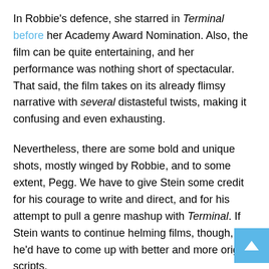In Robbie's defence, she starred in Terminal before her Academy Award Nomination. Also, the film can be quite entertaining, and her performance was nothing short of spectacular. That said, the film takes on its already flimsy narrative with several distasteful twists, making it confusing and even exhausting.
Nevertheless, there are some bold and unique shots, mostly winged by Robbie, and to some extent, Pegg. We have to give Stein some credit for his courage to write and direct, and for his attempt to pull a genre mashup with Terminal. If Stein wants to continue helming films, though, he'd have to come up with better and more original scripts.
Summary: An entertaining and intense noir that tries a little too hard to be many things at the expense of a coherent narrative, but is winged by a few excellent performances,